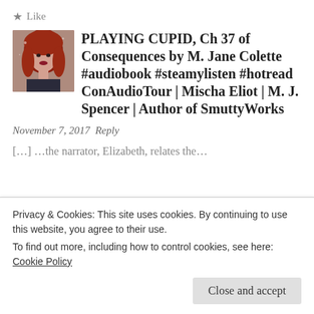★ Like
PLAYING CUPID, Ch 37 of Consequences by M. Jane Colette #audiobook #steamylisten #hotread ConAudioTour | Mischa Eliot | M. J. Spencer | Author of SmuttyWorks
November 7, 2017 Reply
[…] …the narrator, Elizabeth, relates the…
Privacy & Cookies: This site uses cookies. By continuing to use this website, you agree to their use.
To find out more, including how to control cookies, see here:
Cookie Policy
Close and accept